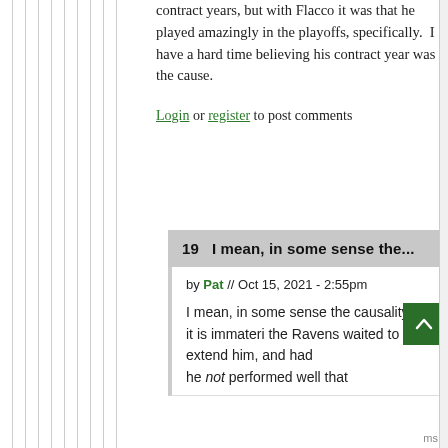contract years, but with Flacco it was that he played amazingly in the playoffs, specifically.  I have a hard time believing his contract year was the cause.
Login or register to post comments
19  I mean, in some sense the...
by Pat // Oct 15, 2021 - 2:55pm
I mean, in some sense the causality of it is immater the Ravens waited to extend him, and had he not performed well that